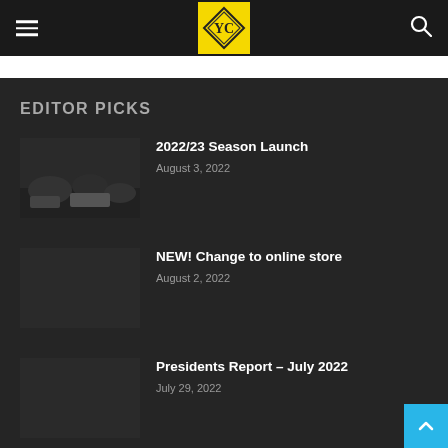Navigation header with hamburger menu, club logo, and search icon
EDITOR PICKS
2022/23 Season Launch — August 3, 2022
NEW! Change to online store — August 2, 2022
Presidents Report – July 2022 — July 29, 2022